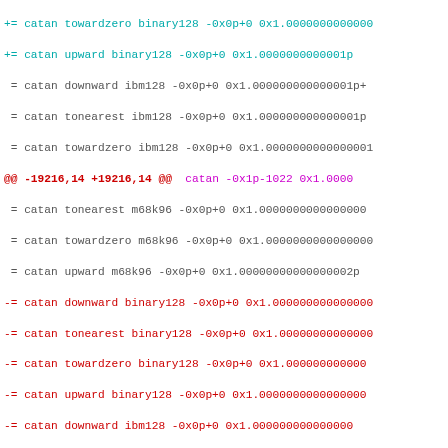Diff output showing catan test results for binary128, ibm128, m68k96, binary32 floating point formats with various rounding modes
+= catan towardzero binary128 -0x0p+0 0x1.0000000000000...
+= catan upward binary128 -0x0p+0 0x1.0000000000001p...
 = catan downward ibm128 -0x0p+0 0x1.000000000000001p+...
 = catan tonearest ibm128 -0x0p+0 0x1.000000000000001p...
 = catan towardzero ibm128 -0x0p+0 0x1.0000000000000001...
@@ -19216,14 +19216,14 @@ catan -0x1p-1022 0x1.0000...
 = catan tonearest m68k96 -0x0p+0 0x1.0000000000000000...
 = catan towardzero m68k96 -0x0p+0 0x1.0000000000000000...
 = catan upward m68k96 -0x0p+0 0x1.00000000000000002p...
-= catan downward binary128 -0x0p+0 0x1.000000000000000...
-= catan tonearest binary128 -0x0p+0 0x1.00000000000000...
-= catan towardzero binary128 -0x0p+0 0x1.000000000000...
-= catan upward binary128 -0x0p+0 0x1.0000000000000000...
-= catan downward ibm128 -0x0p+0 0x1.000000000000000...
-= catan tonearest ibm128 -0x0p+0 0x1.000000000000000...
-= catan towardzero ibm128 -0x0p+0 0x1.0000000000000000...
-= catan upward ibm128 -0x0p+0 0x1.000000000000000002p...
+= catan downward binary128 -0x0p+0 0x1.00000000000000...
+= catan tonearest binary128 -0x0p+0 0x1.00000000000000...
+= catan towardzero binary128 -0x0p+0 0x1.000000000000...
+= catan upward binary128 -0x0p+0 0x1.0000000000000000...
+= catan downward ibm128 -0x0p+0 0x1.000000000000000...
+= catan tonearest ibm128 -0x0p+0 0x1.000000000000000...
+= catan towardzero ibm128 -0x0p+0 0x1.000000000000000...
+= catan upward ibm128 -0x0p+0 0x1.000000000000000002p...
 = catan downward binary32 -0x8p-152 0x1.000002p+0 :
 = catan tonearest binary32 -0x8p-152 0x1.000002p+0
 = catan towardzero binary32 -0x8p-152 0x1.000002p+0...
@@ -19485,14 +19485,14 @@ catan 0x1p-1022 -0x1.0000...
 = catan tonearest m68k96 0x0p+0 -0x1.000002p+0 : 0x...
 = catan towardzero m68k96 0x0p+0 -0x1.000002p+0 : 0...